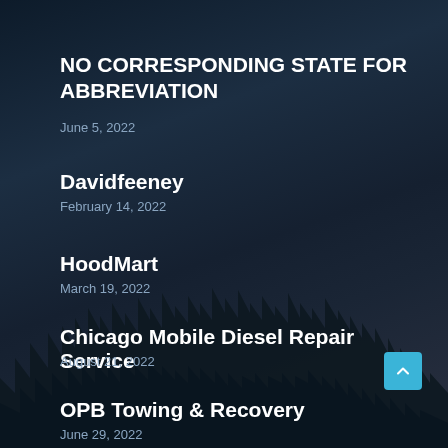NO CORRESPONDING STATE FOR ABBREVIATION
June 5, 2022
Davidfeeney
February 14, 2022
HoodMart
March 19, 2022
Chicago Mobile Diesel Repair Service
August 21, 2022
OPB Towing & Recovery
June 29, 2022